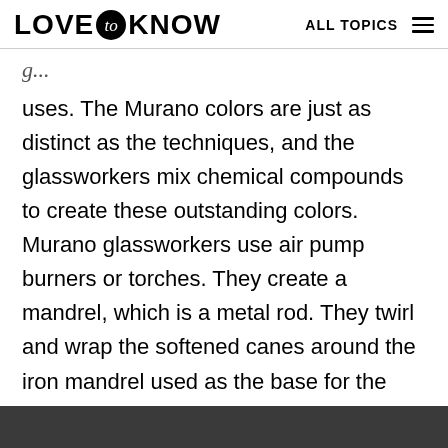LOVE to KNOW | ALL TOPICS
uses. The Murano colors are just as distinct as the techniques, and the glassworkers mix chemical compounds to create these outstanding colors. Murano glassworkers use air pump burners or torches. They create a mandrel, which is a metal rod. They twirl and wrap the softened canes around the iron mandrel used as the base for the formation of the bead. True to the Murano techniques, the lampworkers then layer the colors onto the bead. The Murano artisans even create imitation gemstones out of glass. The centuries-old